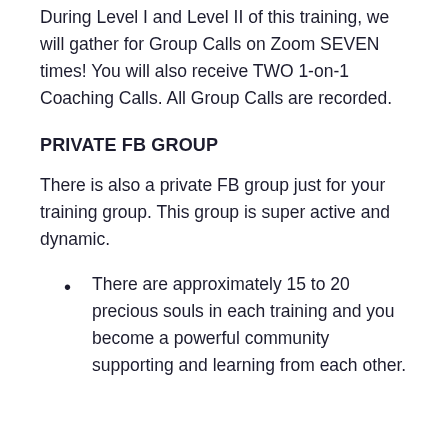During Level I and Level II of this training, we will gather for Group Calls on Zoom SEVEN times! You will also receive TWO 1-on-1 Coaching Calls. All Group Calls are recorded.
PRIVATE FB GROUP
There is also a private FB group just for your training group. This group is super active and dynamic.
There are approximately 15 to 20 precious souls in each training and you become a powerful community supporting and learning from each other.